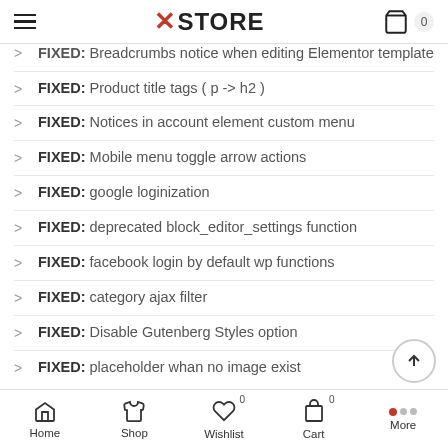XSTORE
FIXED: Breadcrumbs notice when editing Elementor template
FIXED: Product title tags ( p -> h2 )
FIXED: Notices in account element custom menu
FIXED: Mobile menu toggle arrow actions
FIXED: google loginization
FIXED: deprecated block_editor_settings function
FIXED: facebook login by default wp functions
FIXED: category ajax filter
FIXED: Disable Gutenberg Styles option
FIXED: placeholder whan no image exist
Home  Shop  Wishlist 0  Cart 0  More